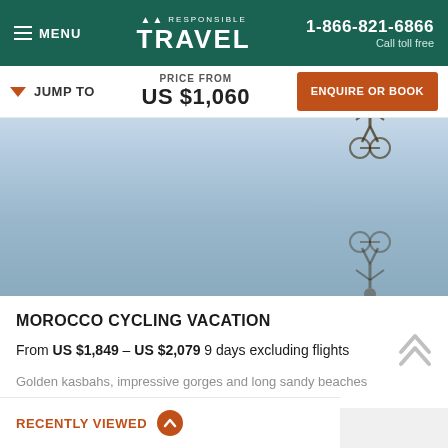MENU | RESPONSIBLE TRAVEL | 1-866-821-6866 Call toll free
JUMP TO | PRICE FROM US $1,060 | ENQUIRE OR BOOK
[Figure (photo): Hero image showing a cyclist silhouette reflected in still water, blue-grey tones]
MOROCCO CYCLING VACATION
From US $1,849 – US $2,079 9 days excluding flights
Golden kasbahs, impressive gorges and long sandy beaches
RECENTLY VIEWED